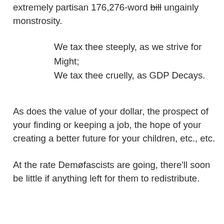extremely partisan 176,276-word bill ungainly monstrosity.
We tax thee steeply, as we strive for Might;
We tax thee cruelly, as GDP Decays.
As does the value of your dollar, the prospect of your finding or keeping a job, the hope of your creating a better future for your children, etc., etc.
At the rate Demøfascists are going, there'll soon be little if anything left for them to redistribute.
We tax thee with a feeling quite obtuse
Fueled by our guilts, and with our childish wrath.
Always aimed squarely at whoever may be happier or more successful or self-sufficient than any of them. Which pretty